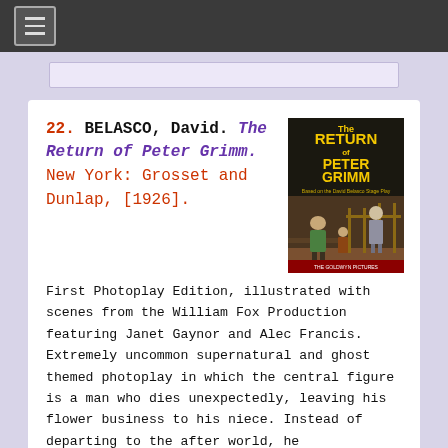≡
22. BELASCO, David. The Return of Peter Grimm. New York: Grosset and Dunlap, [1926].
[Figure (photo): Book cover of 'The Return of Peter Grimm' showing two figures, a woman in green and a man in grey suit, with title text on dark background.]
First Photoplay Edition, illustrated with scenes from the William Fox Production featuring Janet Gaynor and Alec Francis. Extremely uncommon supernatural and ghost themed photoplay in which the central figure is a man who dies unexpectedly, leaving his flower business to his niece. Instead of departing to the after world, he